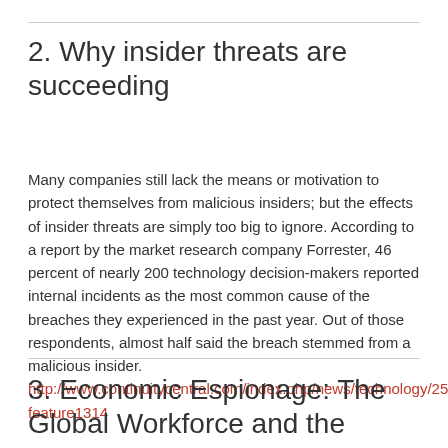2. Why insider threats are succeeding
Many companies still lack the means or motivation to protect themselves from malicious insiders; but the effects of insider threats are simply too big to ignore. According to a report by the market research company Forrester, 46 percent of nearly 200 technology decision-makers reported internal incidents as the most common cause of the breaches they experienced in the past year. Out of those respondents, almost half said the breach stemmed from a malicious insider. http://www.continuitycentral.com/index.php/news/technology/251-feature1314
3. Economic Espionage: The Global Workforce and the